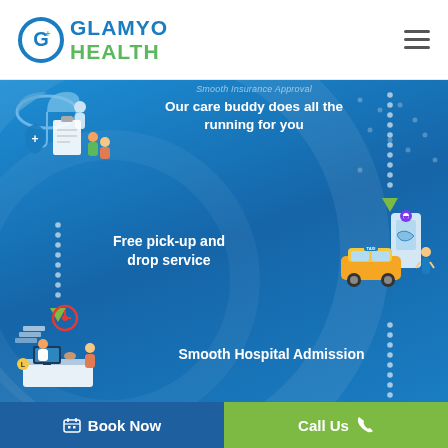[Figure (logo): Glamyo Health logo with circular G icon in blue/green]
[Figure (infographic): Healthcare service infographic showing: smooth insurance approval with care buddy, free pick-up and drop service, and smooth hospital admission steps with icons and dotted connecting lines on blue background]
Smooth Insurance Approval
Our care buddy does all the running for you
Free pick-up and drop service
Smooth Hospital Admission
Book Now
Call Us